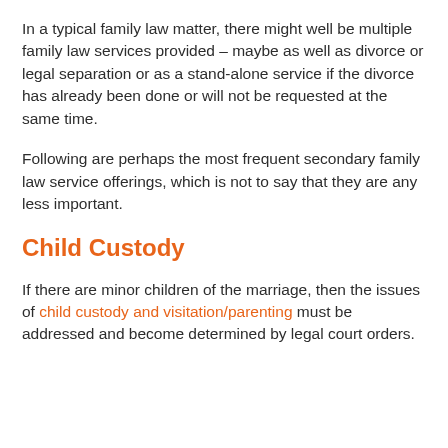In a typical family law matter, there might well be multiple family law services provided – maybe as well as divorce or legal separation or as a stand-alone service if the divorce has already been done or will not be requested at the same time.
Following are perhaps the most frequent secondary family law service offerings, which is not to say that they are any less important.
Child Custody
If there are minor children of the marriage, then the issues of child custody and visitation/parenting must be addressed and become determined by legal court orders.